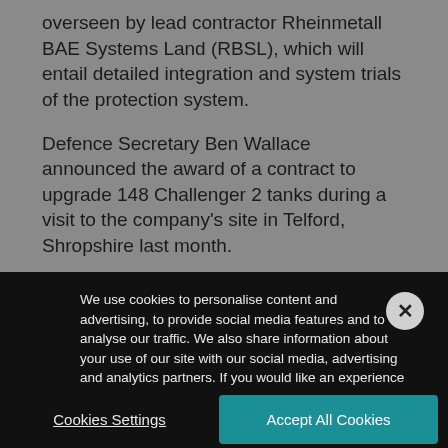overseen by lead contractor Rheinmetall BAE Systems Land (RBSL), which will entail detailed integration and system trials of the protection system.
Defence Secretary Ben Wallace announced the award of a contract to upgrade 148 Challenger 2 tanks during a visit to the company's site in Telford, Shropshire last month.
The upgraded tanks, featuring extra firepower and state-
We use cookies to personalise content and advertising, to provide social media features and to analyse our traffic. We also share information about your use of our site with our social media, advertising and analytics partners. If you would like an experience that is tailored to you, click 'Accept All Cookies'. Alternatively, you can manage your Cookie Settings.
Cookies Settings
Accept All Cookies